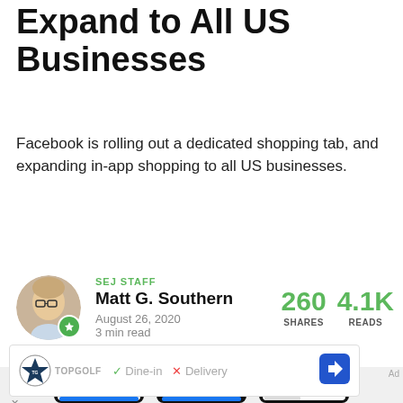Expand to All US Businesses
Facebook is rolling out a dedicated shopping tab, and expanding in-app shopping to all US businesses.
SEJ STAFF
Matt G. Southern
August 26, 2020
3 min read
260 SHARES  4.1K READS
[Figure (screenshot): Three smartphone mockups showing Facebook in-app shopping screens for 'The Tiny Tassel' - The Hayne Tassel Earring $34]
[Figure (infographic): Advertisement banner for Topgolf showing Dine-in checkmark and Delivery X mark with navigation arrow icon]